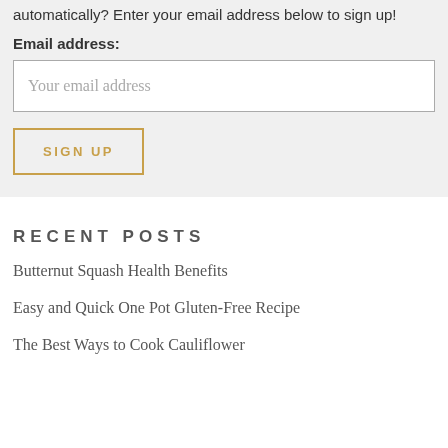automatically? Enter your email address below to sign up!
Email address:
Your email address
SIGN UP
RECENT POSTS
Butternut Squash Health Benefits
Easy and Quick One Pot Gluten-Free Recipe
The Best Ways to Cook Cauliflower